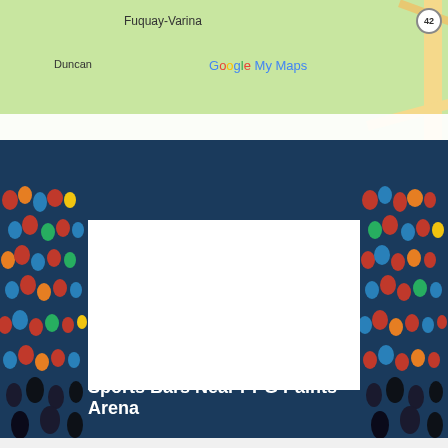[Figure (map): Google My Maps showing Fuquay-Varina area with Duncan and Willow Springs labeled. Map data ©2022, Terms, 5 mi scale bar, Keyboard shortcuts.]
[Figure (photo): Sports stadium crowd photo with dark navy blue background and white rectangular placeholder image in center]
Sports Bars Near PPG Paints Arena